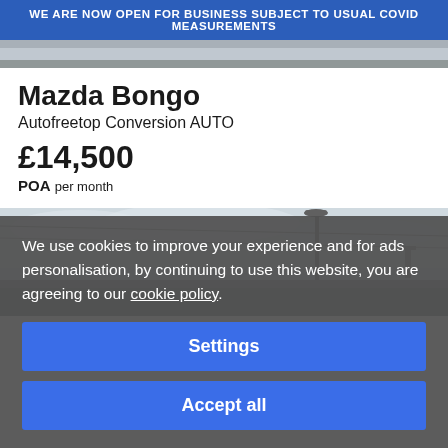WE ARE NOW OPEN FOR BUSINESS SUBJECT TO USUAL COVID MEASUREMENTS
[Figure (photo): Partial view of car listing thumbnail image strip at top]
Mazda Bongo
Autofreetop Conversion AUTO
£14,500
POA per month
[Figure (photo): Photograph of a Mazda Bongo van in a grey overcast outdoor setting with street lamp visible]
We use cookies to improve your experience and for ads personalisation, by continuing to use this website, you are agreeing to our cookie policy.
Settings
Accept all